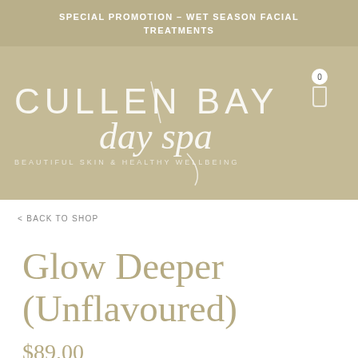SPECIAL PROMOTION – WET SEASON FACIAL TREATMENTS
[Figure (logo): Cullen Bay Day Spa logo — white text on khaki/tan background with tagline 'BEAUTIFUL SKIN & HEALTHY WELLBEING' and a shopping cart icon with badge '0']
< BACK TO SHOP
Glow Deeper (Unflavoured)
$89.00